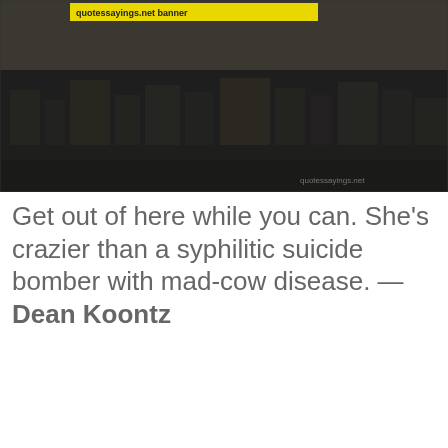[Figure (photo): Dark aerial/cityscape photo with a yellow highlighted text banner near the top left and a watermark 'quotessayings.net' at the bottom right.]
Get out of here while you can. She's crazier than a syphilitic suicide bomber with mad-cow disease. — Dean Koontz